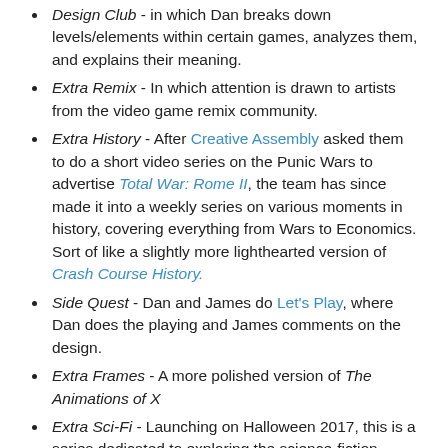Design Club - in which Dan breaks down levels/elements within certain games, analyzes them, and explains their meaning.
Extra Remix - In which attention is drawn to artists from the video game remix community.
Extra History - After Creative Assembly asked them to do a short video series on the Punic Wars to advertise Total War: Rome II, the team has since made it into a weekly series on various moments in history, covering everything from Wars to Economics. Sort of like a slightly more lighthearted version of Crash Course History.
Side Quest - Dan and James do Let's Play, where Dan does the playing and James comments on the design.
Extra Frames - A more polished version of The Animations of X
Extra Sci-Fi - Launching on Halloween 2017, this is a series dedicated to exploring the science-fiction genre, from beginnings to contemporary, across all mediums.
Extra Animation - Launching in April 2018, this is a...